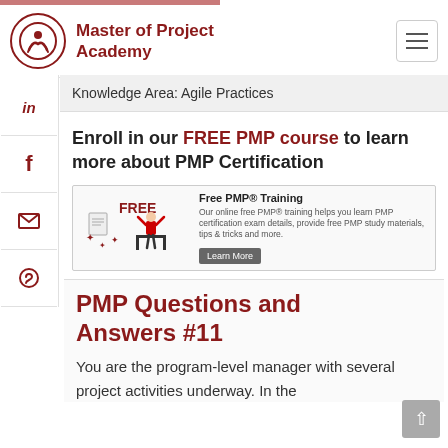Master of Project Academy
Knowledge Area: Agile Practices
Enroll in our FREE PMP course to learn more about PMP Certification
[Figure (infographic): Free PMP Training advertisement banner with an illustration of a person at desk with 'FREE' text, and a Learn More button]
PMP Questions and Answers #11
You are the program-level manager with several project activities underway. In the